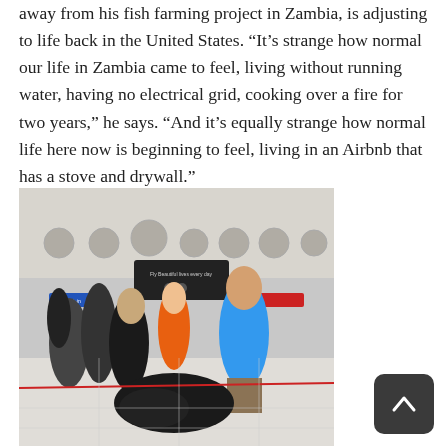away from his fish farming project in Zambia, is adjusting to life back in the United States. “It’s strange how normal our life in Zambia came to feel, living without running water, having no electrical grid, cooking over a fire for two years,” he says. “And it’s equally strange how normal life here now is beginning to feel, living in an Airbnb that has a stove and drywall.”
[Figure (photo): Photo of people at an airport check-in area. A man in a blue t-shirt and shorts stands smiling on the right, a woman is to his left. There are circular emblems on the wall and a dark sign overhead. People and luggage are visible in the background.]